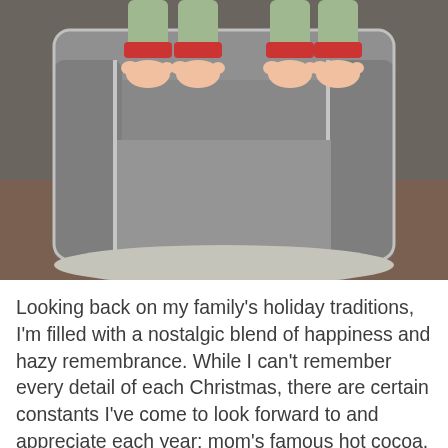[Figure (photo): A photograph taken from above showing a baby or young child lying on a gray upholstered armchair. The child is wearing green and red striped pajamas, and their bare feet and lower legs are visible resting on top of the chair back. A gray shaggy rug is visible on the wooden floor below the chair.]
Looking back on my family's holiday traditions, I'm filled with a nostalgic blend of happiness and hazy remembrance. While I can't remember every detail of each Christmas, there are certain constants I've come to look forward to and appreciate each year: mom's famous hot cocoa, trimming the Douglas Fir while watching